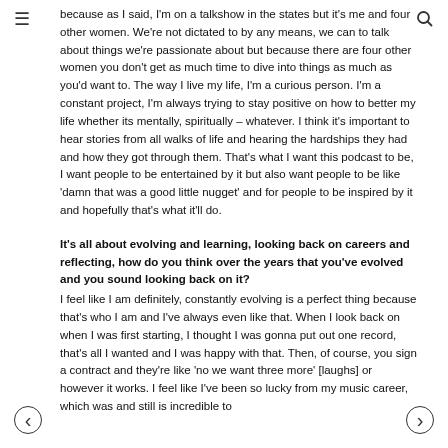because as I said, I'm on a talkshow in the states but it's me and four other women. We're not dictated to by any means, we can to talk about things we're passionate about but because there are four other women you don't get as much time to dive into things as much as you'd want to. The way I live my life, I'm a curious person. I'm a constant project, I'm always trying to stay positive on how to better my life whether its mentally, spiritually – whatever. I think it's important to hear stories from all walks of life and hearing the hardships they had and how they got through them. That's what I want this podcast to be, I want people to be entertained by it but also want people to be like 'damn that was a good little nugget' and for people to be inspired by it and hopefully that's what it'll do.
It's all about evolving and learning, looking back on careers and reflecting, how do you think over the years that you've evolved and you sound looking back on it?
I feel like I am definitely, constantly evolving is a perfect thing because that's who I am and I've always even like that. When I look back on when I was first starting, I thought I was gonna put out one record, that's all I wanted and I was happy with that. Then, of course, you sign a contract and they're like 'no we want three more' [laughs] or however it works. I feel like I've been so lucky from my music career, which was and still is incredible to